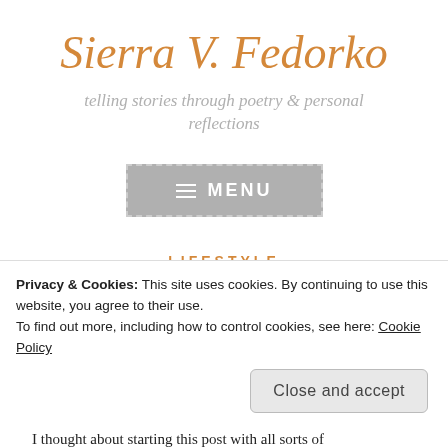Sierra V. Fedorko
telling stories through poetry & personal reflections
[Figure (other): Menu button with hamburger icon and MENU text, gray background with dashed border]
LIFESTYLE
Privacy & Cookies: This site uses cookies. By continuing to use this website, you agree to their use.
To find out more, including how to control cookies, see here: Cookie Policy
Close and accept
I thought about starting this post with all sorts of